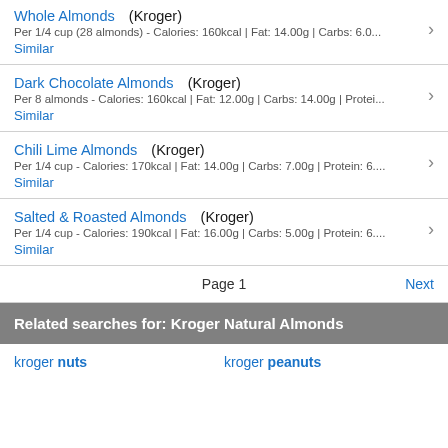Whole Almonds (Kroger)
Per 1/4 cup (28 almonds) - Calories: 160kcal | Fat: 14.00g | Carbs: 6.0...
Similar
Dark Chocolate Almonds (Kroger)
Per 8 almonds - Calories: 160kcal | Fat: 12.00g | Carbs: 14.00g | Protei...
Similar
Chili Lime Almonds (Kroger)
Per 1/4 cup - Calories: 170kcal | Fat: 14.00g | Carbs: 7.00g | Protein: 6....
Similar
Salted & Roasted Almonds (Kroger)
Per 1/4 cup - Calories: 190kcal | Fat: 16.00g | Carbs: 5.00g | Protein: 6....
Similar
Page 1   Next
Related searches for: Kroger Natural Almonds
kroger nuts   kroger peanuts